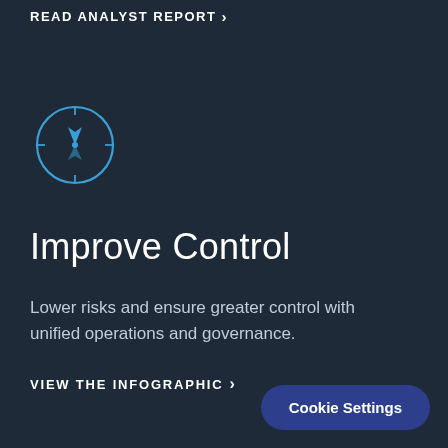READ ANALYST REPORT >
[Figure (illustration): Compass icon in teal/blue outline style, circular with needle pointing diagonally]
Improve Control
Lower risks and ensure greater control with unified operations and governance.
VIEW THE INFOGRAPHIC >
Cookie Settings